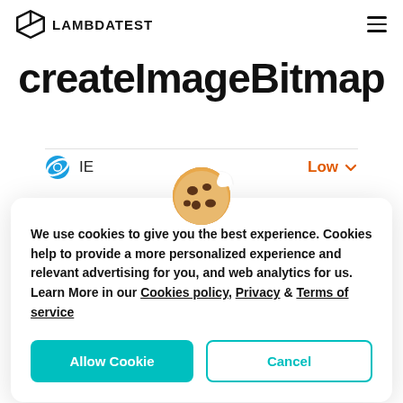LAMBDATEST
createImageBitmap
IE   Low
[Figure (illustration): Cookie emoji icon]
We use cookies to give you the best experience. Cookies help to provide a more personalized experience and relevant advertising for you, and web analytics for us. Learn More in our Cookies policy, Privacy & Terms of service
Allow Cookie   Cancel